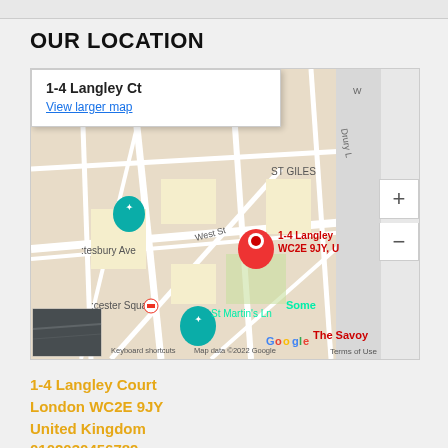OUR LOCATION
[Figure (map): Google Map showing 1-4 Langley Ct, WC2E 9JY, London. The map popup displays '1-4 Langley Ct' with a 'View larger map' link. A red location pin is visible on the map. Other visible labels include ST GILES, West St, Shaftesbury Ave, Leicester Square, St Martin's Ln, Some(rset), The Savoy, Drury L(ane), and a teal navigation pin. Zoom +/- controls appear on the right. Footer shows Keyboard shortcuts, Map data ©2022 Google, Terms of Use.]
1-4 Langley Court
London WC2E 9JY
United Kingdom
0102030456789